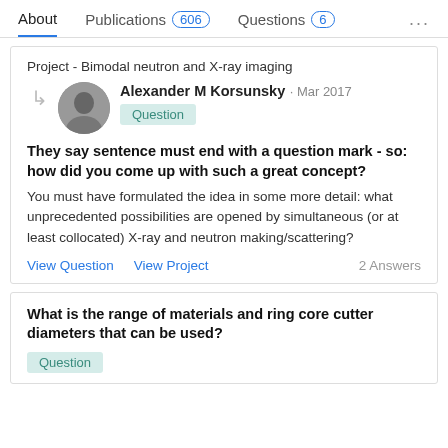About  Publications 606  Questions 6  ...
Project - Bimodal neutron and X-ray imaging
Alexander M Korsunsky · Mar 2017
Question
They say sentence must end with a question mark - so: how did you come up with such a great concept?
You must have formulated the idea in some more detail: what unprecedented possibilities are opened by simultaneous (or at least collocated) X-ray and neutron making/scattering?
View Question  View Project  2 Answers
What is the range of materials and ring core cutter diameters that can be used?
Question